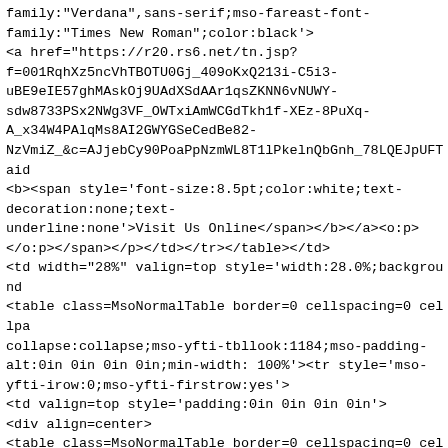family:"Verdana",sans-serif;mso-fareast-font-family:"Times New Roman";color:black'>
<a href="https://r20.rs6.net/tn.jsp?f=001RqhXz5ncVhTBOTU0Gj_409oKxQ213i-C5i3-uBE9eIE57ghMAskOj9UAdXSdAAr1qsZKNN6vNUWY-sdw8733PSx2NWg3VF_OWTxiAmWCGdTkh1f-XEz-8PuXq-A_x34W4PAlqMs8AI2GWYGSeCedBe82-NzVmiZ_&c=AJjebCy90PoaPpNzmWL8T1lPkelnQbGnh_78LQEJpUFTaid
<b><span style='font-size:8.5pt;color:white;text-decoration:none;text-underline:none'>Visit Us Online</span></b></a><o:p></o:p></span></p></td></tr></table></td>
<td width="28%" valign=top style='width:28.0%;background
<table class=MsoNormalTable border=0 cellspacing=0 cellpa
collapse:collapse;mso-yfti-tbllook:1184;mso-padding-alt:0in 0in 0in 0in;min-width: 100%'><tr style='mso-yfti-irow:0;mso-yfti-firstrow:yes'>
<td valign=top style='padding:0in 0in 0in 0in'>
<div align=center>
<table class=MsoNormalTable border=0 cellspacing=0 cellpa
collapse:collapse;mso-yfti-tbllook:1184;min-width: 100%;cursor:default'><tr style='mso-yfti-irow:0;mso-yfti-firstrow:yes;mso-yfti-lastrow:yes'>
<td width="100%" valign=top style='width:100.0%;padding:0
<div align=center>
<table class=MsoNormalTable border=0 cellspacing=0 cellpa
collapse:collapse;mso-yfti-tbllook:1184;mso-padding-alt:0in 0in 0in 0in;min-width: 100%'><tr style='mso-yfti-irow:0;mso-yfti-firstrow:yes;mso-yfti-lastrow:yes;height:.75pt'>